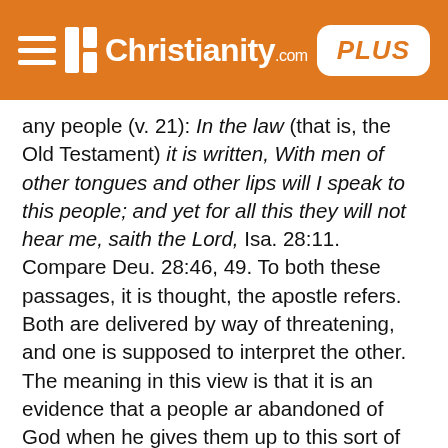Christianity.com PLUS
any people (v. 21): In the law (that is, the Old Testament) it is written, With men of other tongues and other lips will I speak to this people; and yet for all this they will not hear me, saith the Lord, Isa. 28:11. Compare Deu. 28:46, 49. To both these passages, it is thought, the apostle refers. Both are delivered by way of threatening, and one is supposed to interpret the other. The meaning in this view is that it is an evidence that a people ar abandoned of God when he gives them up to this sort of instruction, to the discipline of those who speak in another language. And surely the apostle's discourse implies, "You should not be fond of the tokens of divine displeasure. God can have no gracious regards to those who are left merely to this